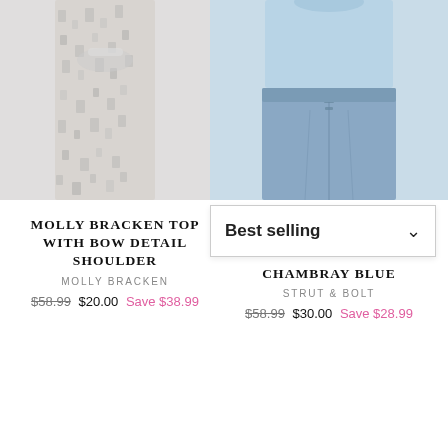[Figure (photo): Left product: female model wearing patterned grey/white jogger pants with a scarf/top, cropped at waist level]
[Figure (photo): Right product: female model wearing light blue crop top and high-waisted chambray blue denim shorts, cropped at waist]
[Figure (screenshot): Best selling sort/filter dropdown UI element]
MOLLY BRACKEN TOP WITH BOW DETAIL SHOULDER
MOLLY BRACKEN
$58.99  $20.00  Save $38.99
CHAMBRAY BLUE
STRUT & BOLT
$58.99  $30.00  Save $28.99